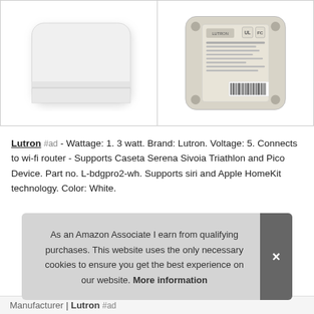[Figure (photo): Front view of Lutron Caseta smart bridge - white rounded square device]
[Figure (photo): Bottom/back view of Lutron Caseta smart bridge showing label with regulatory markings and barcode]
Lutron #ad - Wattage: 1. 3 watt. Brand: Lutron. Voltage: 5. Connects to wi-fi router - Supports Caseta Serena Sivoia Triathlon and Pico Device. Part no. L-bdgpro2-wh. Supports siri and Apple HomeKit technology. Color: White.
As an Amazon Associate I earn from qualifying purchases. This website uses the only necessary cookies to ensure you get the best experience on our website. More information
Manufacturer Lutron #ad